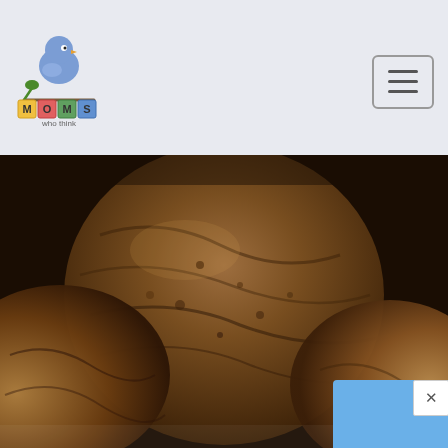[Figure (logo): Moms Who Think logo with blue bird sitting on letter blocks spelling MOMS, and text 'who think' below]
[Figure (photo): Close-up photo of brown molasses sugar cookies stacked together, dark warm tones]
Christmas Cookie Recipes
Molasses Sugar Cookies Recipe
September 25, 2012 / September 14, 2019 by MomsWhoThink Staff
Molasses Sugar Cookies Ingredients: 1 1/2 cups shortening 2 cups white sugar 1/2 cup molasses 2 eggs 4 cups all-purpose flour 4